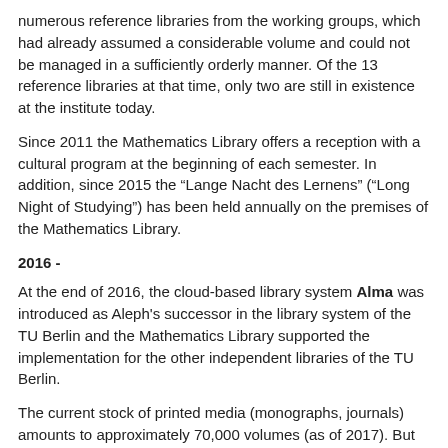numerous reference libraries from the working groups, which had already assumed a considerable volume and could not be managed in a sufficiently orderly manner. Of the 13 reference libraries at that time, only two are still in existence at the institute today.
Since 2011 the Mathematics Library offers a reception with a cultural program at the beginning of each semester. In addition, since 2015 the “Lange Nacht des Lernens” (“Long Night of Studying”) has been held annually on the premises of the Mathematics Library.
2016 -
At the end of 2016, the cloud-based library system Alma was introduced as Aleph's successor in the library system of the TU Berlin and the Mathematics Library supported the implementation for the other independent libraries of the TU Berlin.
The current stock of printed media (monographs, journals) amounts to approximately 70,000 volumes (as of 2017). But the spreading of electronic media is also reflected in the stock of the Mathematics Library. Besides the many electronically available journal subscriptions, the two bibliographic databases "Zentralblatt MATH" and "MathSciNet" as well as e-books of the Society for Industrial and Applied Mathematics (SIAM) are licensed for the IP range of the TU Berlin.